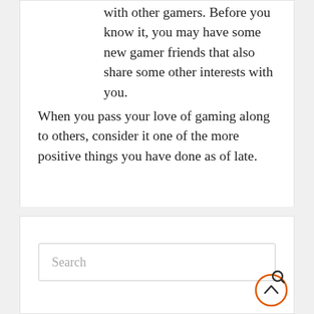with other gamers. Before you know it, you may have some new gamer friends that also share some other interests with you.
When you pass your love of gaming along to others, consider it one of the more positive things you have done as of late.